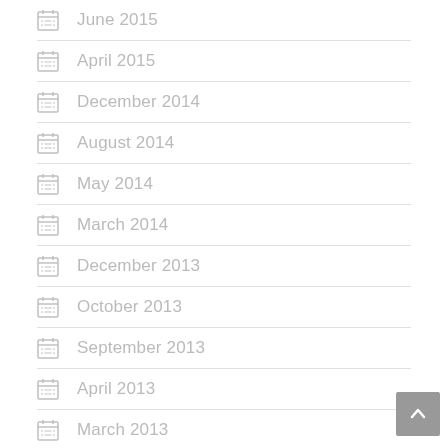June 2015
April 2015
December 2014
August 2014
May 2014
March 2014
December 2013
October 2013
September 2013
April 2013
March 2013
February 2013